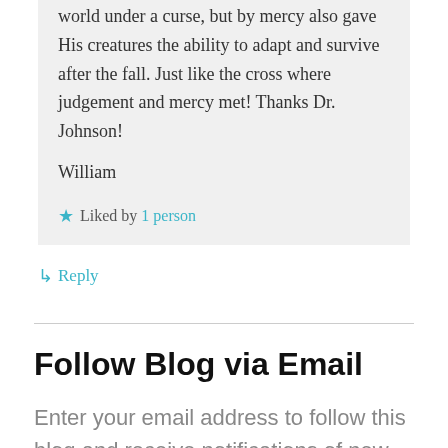world under a curse, but by mercy also gave His creatures the ability to adapt and survive after the fall. Just like the cross where judgement and mercy met! Thanks Dr. Johnson!
William
Liked by 1 person
↳ Reply
Follow Blog via Email
Enter your email address to follow this blog and receive notifications of new posts by